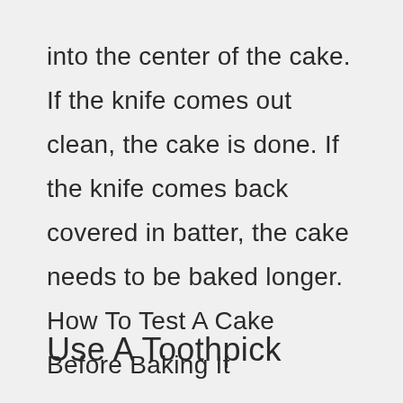into the center of the cake. If the knife comes out clean, the cake is done. If the knife comes back covered in batter, the cake needs to be baked longer. How To Test A Cake Before Baking It
Use A Toothpick